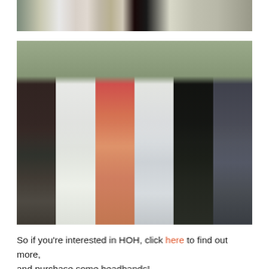[Figure (photo): Cropped top portion of a group photo showing several young women in various outfits (patterned dress, white shorts, colorful outfit, black outfit, patterned dress) standing outdoors on grass.]
[Figure (photo): A group of six young women wearing various outfits and colorful headbands, standing outdoors in a wooded area with green grass. They are holding hands and smiling.]
So if you're interested in HOH, click here to find out more, and purchase some headbands!